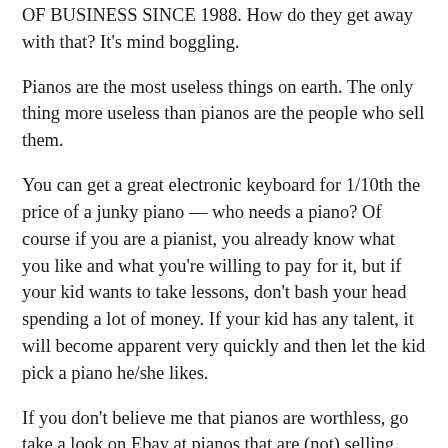OF BUSINESS SINCE 1988. How do they get away with that?  It's mind boggling.
Pianos are the most useless things on earth.  The only thing more useless than pianos are the people who sell them.
You can get a great electronic keyboard for 1/10th the price of a junky piano  — who needs a piano?  Of course if you are a pianist, you already know what you like and what you're willing to pay for it, but if your kid wants to take lessons, don't bash your head spending a lot of money.  If your kid has any talent, it will become apparent very quickly and then let the kid pick a piano he/she likes.
If you don't believe me that pianos are worthless, go take a look on Ebay at pianos that are (not) selling.
Of course the name “STEINWAY” makes everyone go gaga, but even Steinways are essentially